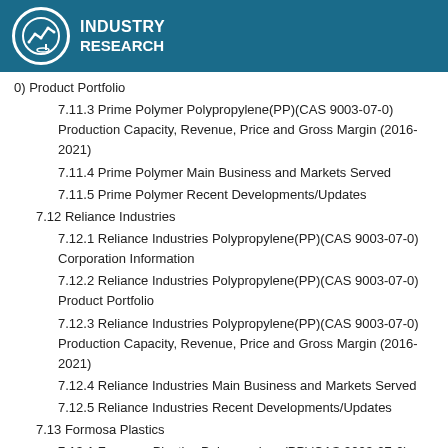INDUSTRY RESEARCH
0) Product Portfolio
7.11.3 Prime Polymer Polypropylene(PP)(CAS 9003-07-0) Production Capacity, Revenue, Price and Gross Margin (2016-2021)
7.11.4 Prime Polymer Main Business and Markets Served
7.11.5 Prime Polymer Recent Developments/Updates
7.12 Reliance Industries
7.12.1 Reliance Industries Polypropylene(PP)(CAS 9003-07-0) Corporation Information
7.12.2 Reliance Industries Polypropylene(PP)(CAS 9003-07-0) Product Portfolio
7.12.3 Reliance Industries Polypropylene(PP)(CAS 9003-07-0) Production Capacity, Revenue, Price and Gross Margin (2016-2021)
7.12.4 Reliance Industries Main Business and Markets Served
7.12.5 Reliance Industries Recent Developments/Updates
7.13 Formosa Plastics
7.13.1 Formosa Plastics Polypropylene(PP)(CAS 9003-07-0) Corporation Information
7.13.2 Formosa Plastics Polypropylene(PP)(CAS 9003-07-